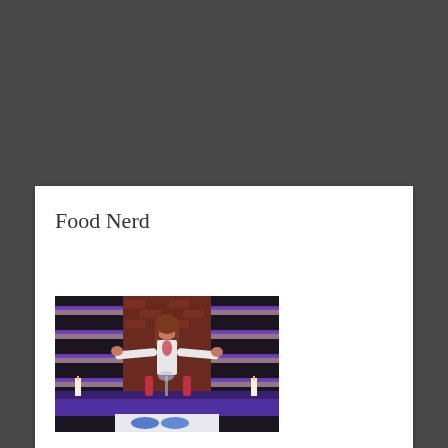Food Nerd
[Figure (photo): A woman standing at a table on a TV cooking show set with purple accent lighting and a brick wall backdrop, arms outstretched in an enthusiastic pose. Various items including candles and props are on the table.]